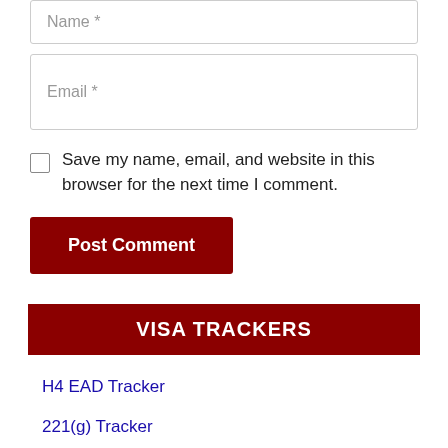Name *
Email *
Save my name, email, and website in this browser for the next time I comment.
Post Comment
VISA TRACKERS
H4 EAD Tracker
221(g) Tracker
H1B Visa 2023 Tracker